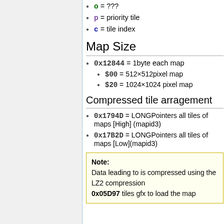o = ???
p = priority tile
c = tile index
Map Size
0x12844 = 1byte each map
$00 = 512×512pixel map
$20 = 1024×1024 pixel map
Compressed tile arragement
0x1794D = LONGPointers all tiles of maps [High] (mapid3)
0x17B2D = LONGPointers all tiles of maps [Low](mapid3)
Note: Data leading to is compressed using the LZ2 compression 0x05D97 tiles gfx to load the map